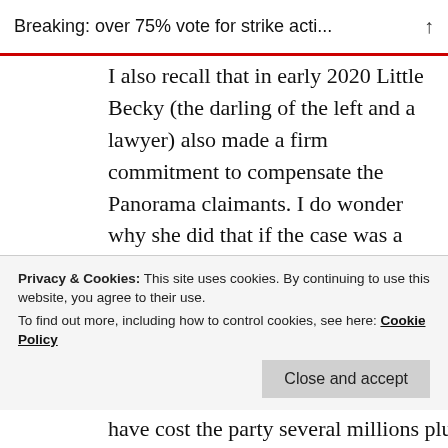Breaking: over 75% vote for strike acti...
I also recall that in early 2020 Little Becky (the darling of the left and a lawyer) also made a firm commitment to compensate the Panorama claimants. I do wonder why she did that if the case was a slam dunk as you claim
For some strange reason you also seem to have forgotten that several months later in the summer when decisions had to be made the original rather non-committal
Privacy & Cookies: This site uses cookies. By continuing to use this website, you agree to their use.
To find out more, including how to control cookies, see here: Cookie Policy
Close and accept
have cost the party several millions plus a